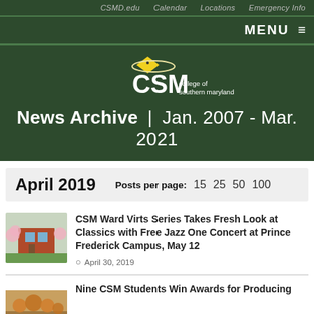CSMD.edu  Calendar  Locations  Emergency Info
MENU
[Figure (logo): CSM College of Southern Maryland logo with yellow diamond mortarboard and orbital ring]
News Archive | Jan. 2007 - Mar. 2021
April 2019   Posts per page: 15  25  50  100
CSM Ward Virts Series Takes Fresh Look at Classics with Free Jazz One Concert at Prince Frederick Campus, May 12
April 30, 2019
Nine CSM Students Win Awards for Producing